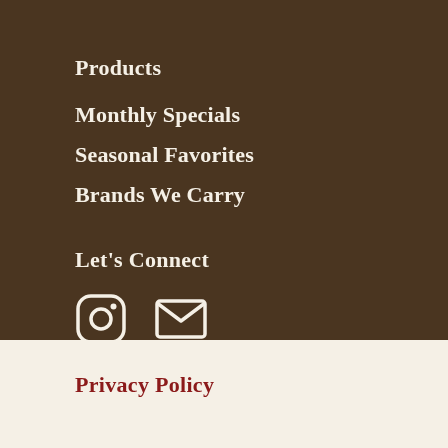Products
Monthly Specials
Seasonal Favorites
Brands We Carry
Let's Connect
[Figure (illustration): Instagram icon and email envelope icon side by side]
Privacy Policy